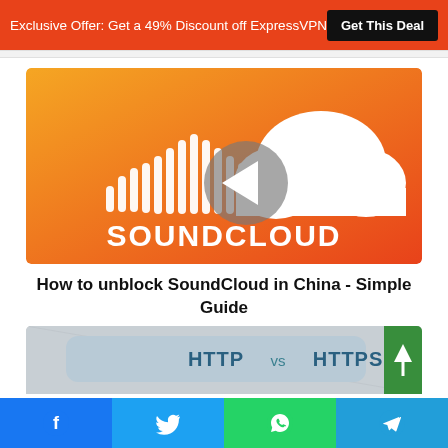Exclusive Offer: Get a 49% Discount off ExpressVPN  [Get This Deal]
[Figure (illustration): SoundCloud logo on orange gradient background with a playback left-arrow circle overlay]
How to unblock SoundCloud in China - Simple Guide
[Figure (screenshot): Partial image showing 'HTTP vs HTTPS' header graphic with teal/light blue rounded rectangle, and a green scroll-to-top button on the right]
Social sharing bar: Facebook, Twitter, WhatsApp, Telegram